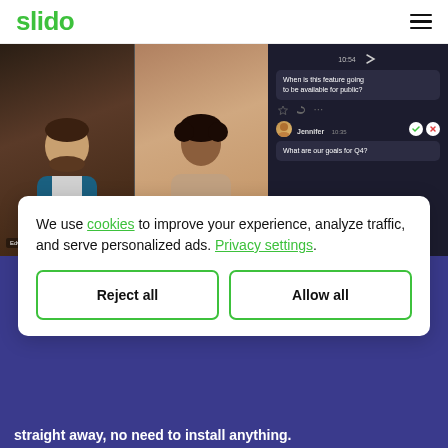slido
[Figure (screenshot): Screenshot of a video call interface with two participants (Edwin Ruben and Ramachandra Gita) on the left, and a dark-themed Q&A/chat panel on the right showing questions: 'When is this feature going to be available for public?' at 10:54, and 'What are our goals for Q4?' from Jennifer at 10:35 with approve/reject buttons.]
We use cookies to improve your experience, analyze traffic, and serve personalized ads. Privacy settings.
Reject all
Allow all
straight away, no need to install anything.